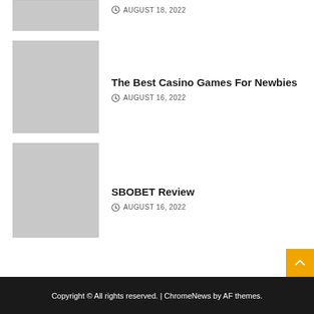[Figure (photo): Placeholder thumbnail image (grey box, partial/cropped at top)]
AUGUST 18, 2022
[Figure (photo): Placeholder thumbnail image (grey box)]
The Best Casino Games For Newbies
AUGUST 16, 2022
[Figure (photo): Placeholder thumbnail image (grey box)]
SBOBET Review
AUGUST 16, 2022
Copyright © All rights reserved. | ChromeNews by AF themes.